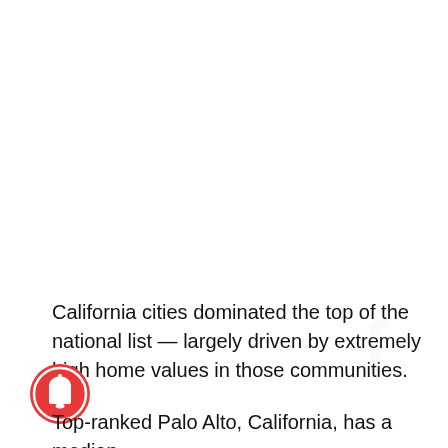California cities dominated the top of the national list — largely driven by extremely high home values in those communities.
Top-ranked Palo Alto, California, has a median